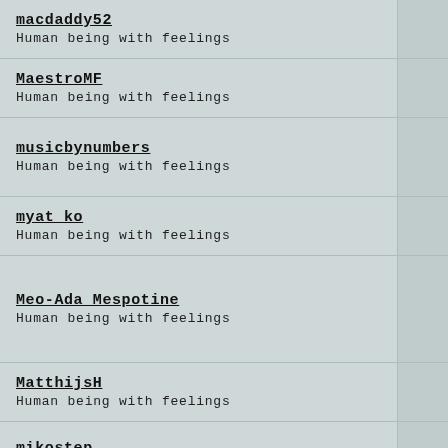macdaddy52
Human being with feelings
MaestroMF
Human being with feelings
musicbynumbers
Human being with feelings
myat ko
Human being with feelings
Meo-Ada Mespotine
Human being with feelings
MatthijsH
Human being with feelings
mikostep
Human being with feelings